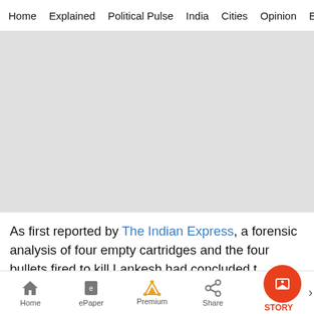Home  Explained  Political Pulse  India  Cities  Opinion  Entertainment
[Figure (photo): Gray placeholder image area]
As first reported by The Indian Express, a forensic analysis of four empty cartridges and the four bullets fired to kill Lankesh had concluded t
Home  ePaper  Premium  Share  STORY